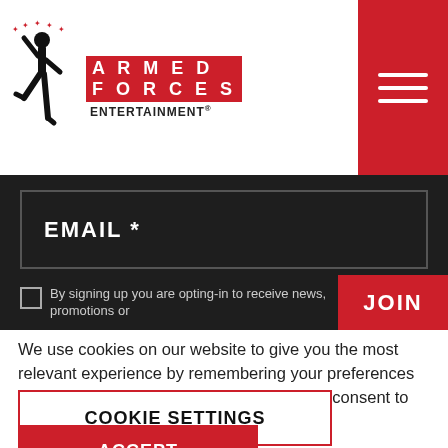[Figure (logo): Armed Forces Entertainment logo with stylized martial arts figure silhouette and red text blocks]
EMAIL *
By signing up you are opting-in to receive news, promotions or
JOIN
We use cookies on our website to give you the most relevant experience by remembering your preferences and repeat visits. By clicking "Accept", you consent to the use of ALL the cookies.
COOKIE SETTINGS
ACCEPT